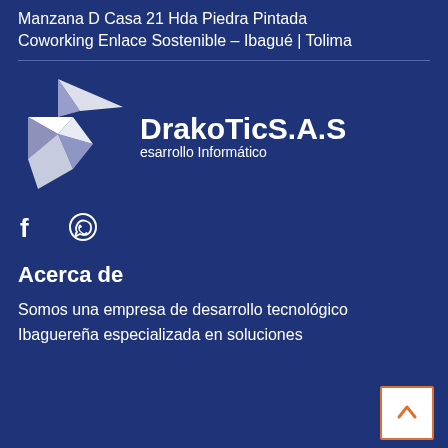Manzana D Casa 21 Hda Piedra Pintada
Coworking Enlace Sostenible – Ibagué | Tolima
[Figure (logo): DrakoTicS.A.S Desarrollo Informático logo — geometric origami/arrow shapes in white with company name text]
[Figure (infographic): Facebook and WhatsApp social media icons in white]
Acerca de
Somos una empresa de desarrollo tecnológico Ibaguereña especializada en soluciones